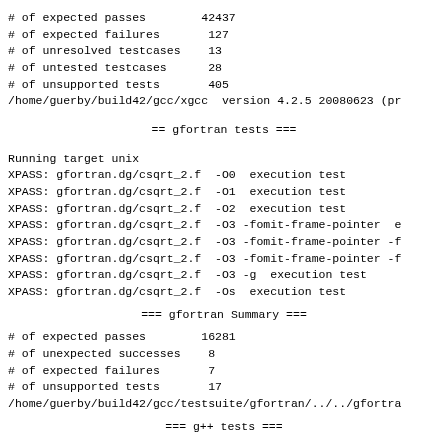# of expected passes        42437
# of expected failures       127
# of unresolved testcases    13
# of untested testcases      28
# of unsupported tests       405
/home/guerby/build42/gcc/xgcc  version 4.2.5 20080623 (pr
=== gfortran tests ===
Running target unix
XPASS: gfortran.dg/csqrt_2.f  -O0  execution test
XPASS: gfortran.dg/csqrt_2.f  -O1  execution test
XPASS: gfortran.dg/csqrt_2.f  -O2  execution test
XPASS: gfortran.dg/csqrt_2.f  -O3 -fomit-frame-pointer  e
XPASS: gfortran.dg/csqrt_2.f  -O3 -fomit-frame-pointer -f
XPASS: gfortran.dg/csqrt_2.f  -O3 -fomit-frame-pointer -f
XPASS: gfortran.dg/csqrt_2.f  -O3 -g  execution test
XPASS: gfortran.dg/csqrt_2.f  -Os  execution test
=== gfortran Summary ===
# of expected passes        16281
# of unexpected successes    8
# of expected failures       7
# of unsupported tests       17
/home/guerby/build42/gcc/testsuite/gfortran/../../gfortra
=== g++ tests ===